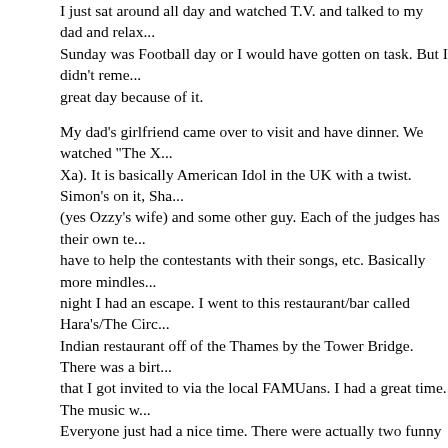I just sat around all day and watched T.V. and talked to my dad and relax... Sunday was Football day or I would have gotten on task. But I didn't reme... great day because of it.

My dad's girlfriend came over to visit and have dinner. We watched "The X... Xa). It is basically American Idol in the UK with a twist. Simon's on it, Sha... (yes Ozzy's wife) and some other guy. Each of the judges has their own te... have to help the contestants with their songs, etc. Basically more mindles... night I had an escape. I went to this restaurant/bar called Hara's/The Circ... Indian restaurant off of the Thames by the Tower Bridge. There was a birt... that I got invited to via the local FAMUans. I had a great time. The music w... Everyone just had a nice time. There were actually two funny events that ... is that these two guys from Howard tried to come at me with the "Sorry yo... bit. And I know what you're thinking Grace but I didn't start it. I would have... me to it. Regardless, as we all know FAM is the better school, I beat them... Their funniest line was that they produced such greats as Paul Robeson, ... and some other actor. So when I asked them what Paul Robeson's major ... said Biology, I had an 'all clear' to rip them on how a Howard education ob... The other funny event for the evening involved a collaboration between th... owner Sascha and the party planners. Basically the lounge/bar/dancefloor... reserved for our party after dinner. While the group was eating dinner, ano... party group came into the restaurant to celebrate at the spur of the mom... restaurant closed at 1am. So in true fashion, since our party paid for the D... right that the other party had to go. So at 1am the music stopped and the ... owners attempted to encourage the other partygoers to exit. Well clearly b... them to leave, that's bad business. But they stopped serving liquor, opene... did the 'walk around' enough times that they got the hint. It took a little bit ... expected but by 1:40 (after losing some of our own folks), the DJ, as Ced... would say, kept the party going. Like I said, I had a great evening. I took a... the authentic black taxi - Check out the pics) with a girl that I met at the pa... goodness I did because the entire ride was equivalent to $65 +. London is...